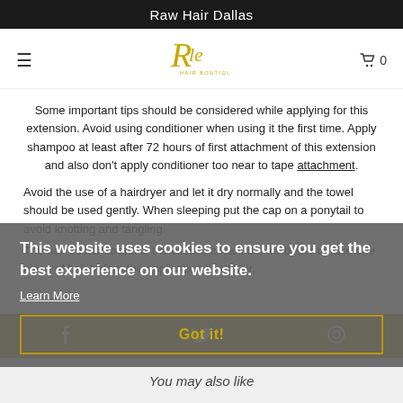Raw Hair Dallas
[Figure (logo): Raw Hair Boutique cursive logo in gold/yellow color]
Some important tips should be considered while applying for this extension. Avoid using conditioner when using it the first time. Apply shampoo at least after 72 hours of first attachment of this extension and also don't apply conditioner too near to tape attachment.
Avoid the use of a hairdryer and let it dry normally and the towel should be used gently. When sleeping put the cap on a ponytail to avoid knotting and tangling.
The hair colour strand is the client's choice but it's better to take one piece of hair before the application to all hair.
This website uses cookies to ensure you get the best experience on our website.
Learn More
Got it!
You may also like